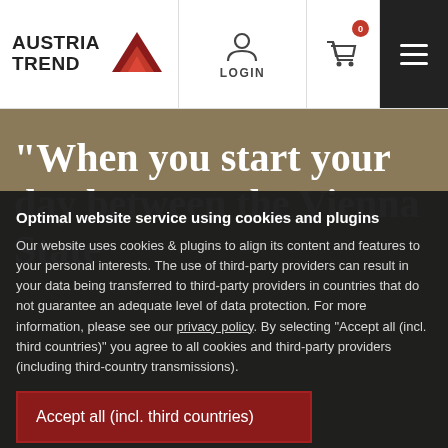[Figure (logo): Austria Trend logo with red triangle/mountain icon and text AUSTRIA TREND]
LOGIN | Cart (0) | Menu
“When you start your day between the Vienna State
Optimal website service using cookies and plugins
Our website uses cookies & plugins to align its content and features to your personal interests. The use of third-party providers can result in your data being transferred to third-party providers in countries that do not guarantee an adequate level of data protection. For more information, please see our privacy policy. By selecting "Accept all (incl. third countries)" you agree to all cookies and third-party providers (including third-country transmissions).
Accept all (incl. third countries)
Cookie settings